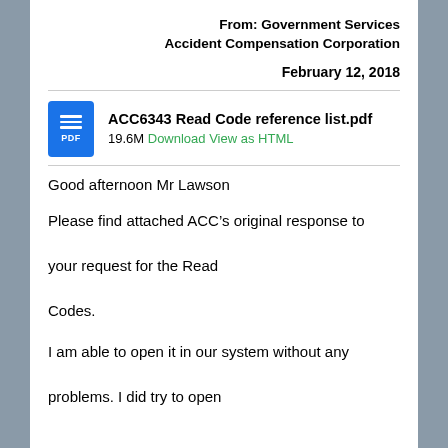From: Government Services Accident Compensation Corporation
February 12, 2018
[Figure (other): PDF attachment icon - blue rectangle with white horizontal lines and PDF label]
ACC6343 Read Code reference list.pdf
19.6M Download View as HTML
Good afternoon Mr Lawson
Please find attached ACC’s original response to your request for the Read Codes.
I am able to open it in our system without any problems. I did try to open